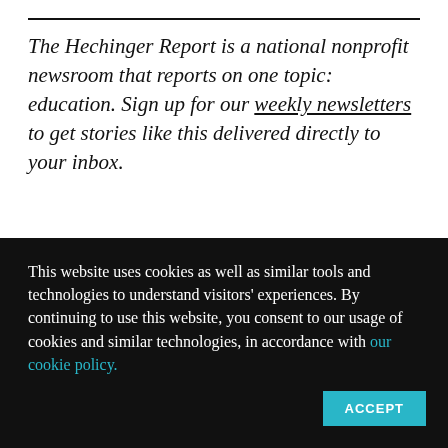The Hechinger Report is a national nonprofit newsroom that reports on one topic: education. Sign up for our weekly newsletters to get stories like this delivered directly to your inbox.
Betsy DeVos, the U.S. Secretary of Education, continues
[Figure (illustration): Cartoon school building icon with red walls, dark roof with triangle peak, and a door with a small bell icon in a square frame.]
This website uses cookies as well as similar tools and technologies to understand visitors' experiences. By continuing to use this website, you consent to our usage of cookies and similar technologies, in accordance with our cookie policy.